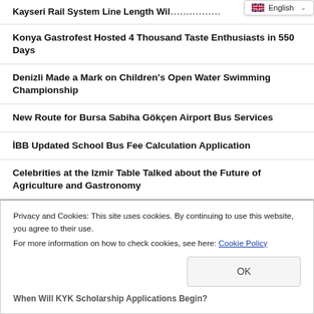English
Kayseri Rail System Line Length Wil... (truncated)
Konya Gastrofest Hosted 4 Thousand Taste Enthusiasts in 550 Days
Denizli Made a Mark on Children's Open Water Swimming Championship
New Route for Bursa Sabiha Gökçen Airport Bus Services
İBB Updated School Bus Fee Calculation Application
Celebrities at the Izmir Table Talked about the Future of Agriculture and Gastronomy
Victory Parade Caravan was Welcomed with Enthusiasm in
Privacy and Cookies: This site uses cookies. By continuing to use this website, you agree to their use.
For more information on how to check cookies, see here: Cookie Policy
OK
When Will KYK Scholarship Applications Begin?